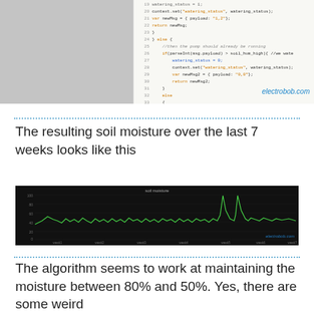[Figure (screenshot): Left: gray placeholder image. Right: code screenshot showing JavaScript Node-RED flow code with line numbers 19-37, including watering_status logic, context.set calls, and return statements. Watermark 'electrobob.com' visible.]
The resulting soil moisture over the last 7 weeks looks like this
[Figure (line-chart): Dark background line chart titled 'soil moisture' showing soil moisture data over 7 weeks. Green line oscillates roughly between 50% and 80% with periodic watering spikes visible. Watermark 'electrobob.com' at bottom right.]
The algorithm seems to work at maintaining the moisture between 80% and 50%. Yes, there are some weird values on the right side and